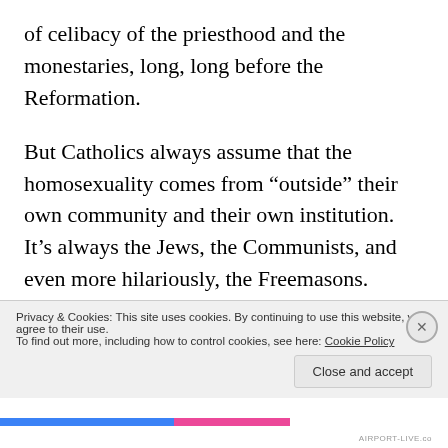of celibacy of the priesthood and the monestaries, long, long before the Reformation.
But Catholics always assume that the homosexuality comes from “outside” their own community and their own institution. It’s always the Jews, the Communists, and even more hilariously, the Freemasons.
Freemasonry is another great example of this. My own Protestant tradition was rather ambiguous about Freemasonry. The more conservative men of my background felt quite uncomfortable with it, and some
Privacy & Cookies: This site uses cookies. By continuing to use this website, you agree to their use.
To find out more, including how to control cookies, see here: Cookie Policy
Close and accept